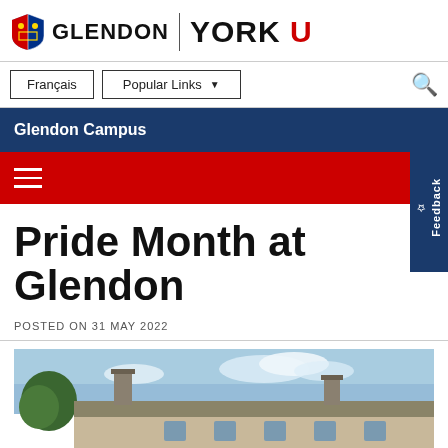[Figure (logo): Glendon York University logo with shield emblem, 'GLENDON' text and 'YORK U' text with red U]
Français
Popular Links ▾
Glendon Campus
Pride Month at Glendon
POSTED ON 31 MAY 2022
[Figure (photo): Glendon campus building with chimneys against a blue sky with trees in foreground]